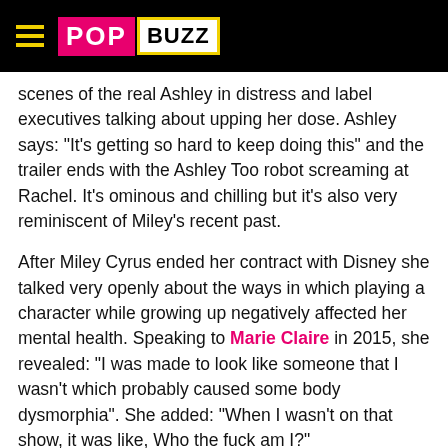POPBUZZ
scenes of the real Ashley in distress and label executives talking about upping her dose. Ashley says: "It's getting so hard to keep doing this" and the trailer ends with the Ashley Too robot screaming at Rachel. It's ominous and chilling but it's also very reminiscent of Miley's recent past.

After Miley Cyrus ended her contract with Disney she talked very openly about the ways in which playing a character while growing up negatively affected her mental health. Speaking to Marie Claire in 2015, she revealed: "I was made to look like someone that I wasn't which probably caused some body dysmorphia". She added: "When I wasn't on that show, it was like, Who the fuck am I?"